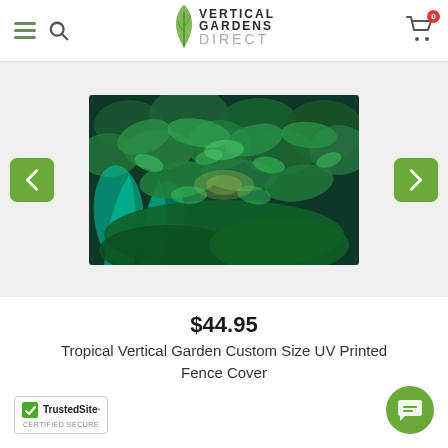Vertical Gardens Direct — navigation header with hamburger menu, search icon, logo, and cart
[Figure (photo): Lush tropical vertical garden wall with dense green foliage — product photo for fence cover]
$44.95
Tropical Vertical Garden Custom Size UV Printed Fence Cover
[Figure (logo): TrustedSite Certified Secure badge]
[Figure (illustration): Green circular chat support button in bottom right corner]